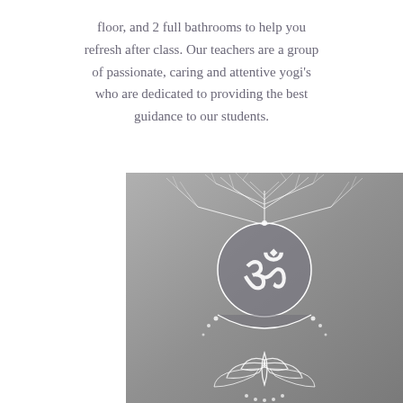floor, and 2 full bathrooms to help you refresh after class. Our teachers are a group of passionate, caring and attentive yogi's who are dedicated to providing the best guidance to our students.
[Figure (illustration): A yoga/spiritual illustration on a grey gradient background showing an Om symbol inside a circle with a tree of life branching above, and a lotus flower beneath, rendered in white line art.]